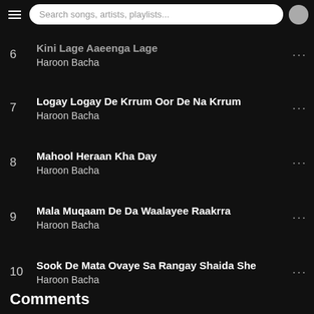Search songs, artists, playlists...
6 — Kini Lage Aaeenga Lage · Haroon Bacha
7 — Logay Logay De Krrum Oor De Na Krrum · Haroon Bacha
8 — Mahool Heraan Kha Day · Haroon Bacha
9 — Mala Muqaam De Da Waalayee Raakrra · Haroon Bacha
10 — Sook De Mata Ovaye Sa Rangay Shaida She · Haroon Bacha
11 — Tu Kho Waaya Zo Ba Sa Krrum · Haroon Bacha
Comments